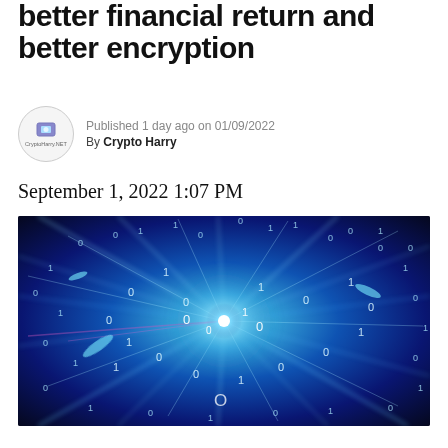better financial return and better encryption
Published 1 day ago on 01/09/2022
By Crypto Harry
September 1, 2022 1:07 PM
[Figure (photo): Abstract digital binary data stream exploding from a bright central light source, with glowing 0s and 1s flying outward against a dark blue background, representing cryptocurrency or digital encryption concept.]